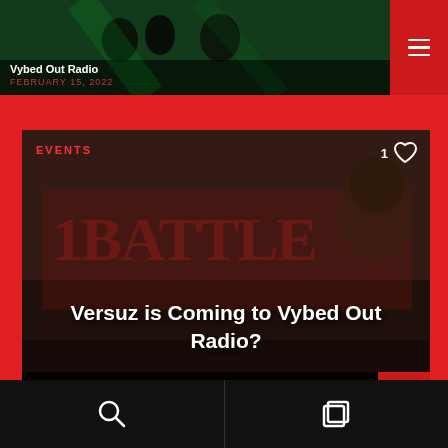[Figure (screenshot): Top card: dark concert/event photo showing performers on stage with green lighting]
Vybed Out Radio
FEBRUARY 15, 2022
[Figure (screenshot): Main card: event photo showing rappers performing at what appears to be a 1Battle event with graffiti art backdrop and crowd]
EVENTS
1 ♡
Versuz is Coming to Vybed Out Radio?
Vybed Out Radio
FEBRUARY 15, 2022
[Figure (other): Bottom navigation bar with search icon on left and layers/copy icon on right]